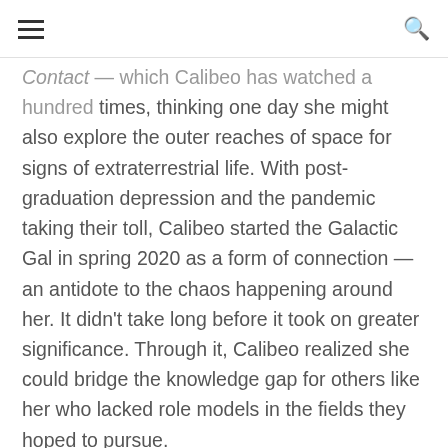≡  🔍
Contact — which Calibeo has watched a hundred times, thinking one day she might also explore the outer reaches of space for signs of extraterrestrial life. With post-graduation depression and the pandemic taking their toll, Calibeo started the Galactic Gal in spring 2020 as a form of connection—an antidote to the chaos happening around her. It didn't take long before it took on greater significance. Through it, Calibeo realized she could bridge the knowledge gap for others like her who lacked role models in the fields they hoped to pursue.
“If I had seen something like this as young girl, and even into my teenage years, I would’ve known a lot earlier in life that I could become an astronomer,